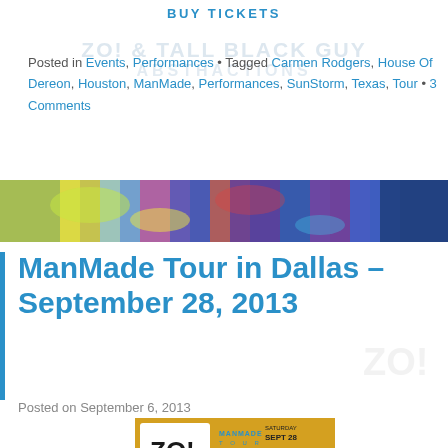BUY TICKETS
Posted in Events, Performances • Tagged Carmen Rodgers, House Of Dereon, Houston, ManMade, Performances, SunStorm, Texas, Tour • 3 Comments
[Figure (photo): Colorful abstract art banner image with blues, yellows, greens, purples]
ManMade Tour in Dallas – September 28, 2013
Posted on September 6, 2013
[Figure (photo): Event poster for ManMade Tour featuring Zo! with Carmen Rodgers, Saturday Sept 28, presented by Brown Sugar Soda]